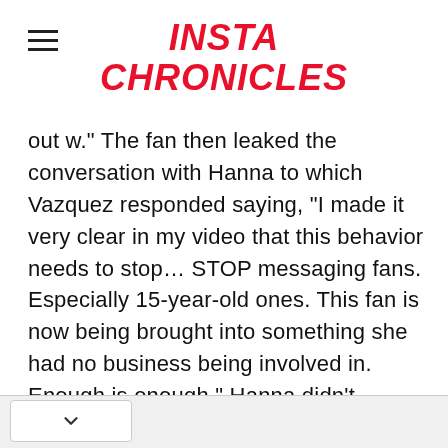INSTA CHRONICLES
out w." The fan then leaked the conversation with Hanna to which Vazquez responded saying, "I made it very clear in my video that this behavior needs to stop... STOP messaging fans. Especially 15-year-old ones. This fan is now being brought into something she had no business being involved in. Enough is enough." Hanna didn't apologize for sending the screenshots to the 15-year-old fan but only apologized to the fan who accused her.